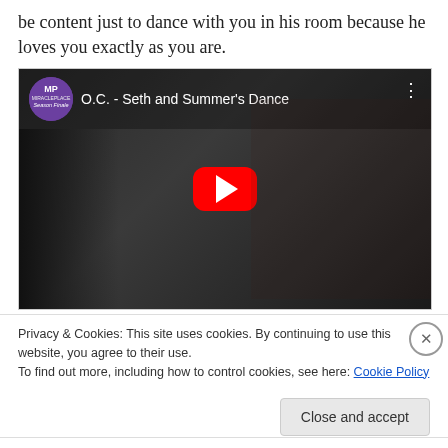be content just to dance with you in his room because he loves you exactly as you are.
[Figure (screenshot): YouTube video embed showing 'O.C. - Seth and Summer's Dance' with a play button overlay. The thumbnail shows two people, one in a red top. The video is from MiraclePlace Season Finale channel.]
Privacy & Cookies: This site uses cookies. By continuing to use this website, you agree to their use.
To find out more, including how to control cookies, see here: Cookie Policy
Close and accept